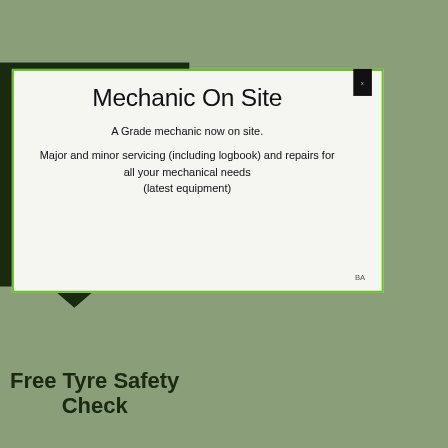Mechanic On Site
A Grade mechanic now on site.
Major and minor servicing (including logbook) and repairs for all your mechanical needs (latest equipment)
Free Tyre Safety Check